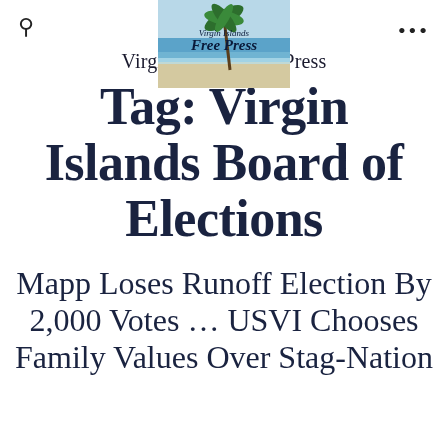[Figure (logo): Virgin Islands Free Press logo with tropical beach and palm tree]
Virgin Islands Free Press
Tag: Virgin Islands Board of Elections
Mapp Loses Runoff Election By 2,000 Votes … USVI Chooses Family Values Over Stag-Nation